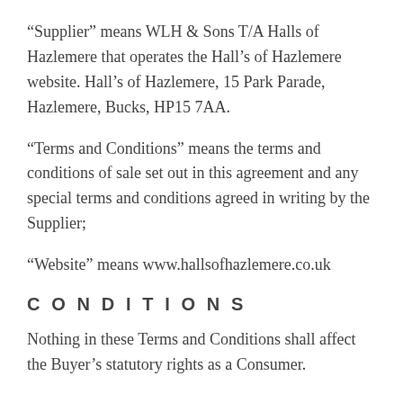“Supplier” means WLH & Sons T/A Halls of Hazlemere that operates the Hall’s of Hazlemere website. Hall’s of Hazlemere, 15 Park Parade, Hazlemere, Bucks, HP15 7AA.
“Terms and Conditions” means the terms and conditions of sale set out in this agreement and any special terms and conditions agreed in writing by the Supplier;
“Website” means www.hallsofhazlemere.co.uk
CONDITIONS
Nothing in these Terms and Conditions shall affect the Buyer’s statutory rights as a Consumer.